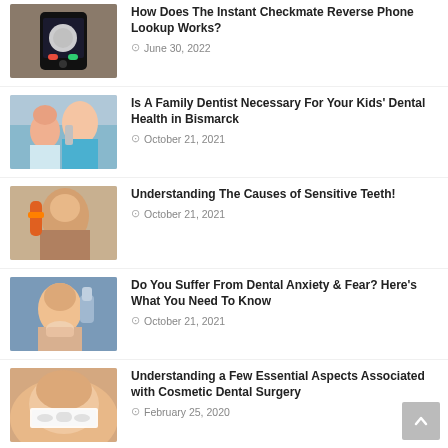How Does The Instant Checkmate Reverse Phone Lookup Works? — June 30, 2022
Is A Family Dentist Necessary For Your Kids' Dental Health in Bismarck — October 21, 2021
Understanding The Causes of Sensitive Teeth! — October 21, 2021
Do You Suffer From Dental Anxiety & Fear? Here's What You Need To Know — October 21, 2021
Understanding a Few Essential Aspects Associated with Cosmetic Dental Surgery — February 25, 2020
When Should You See an Endodontist? — February 25, 2020